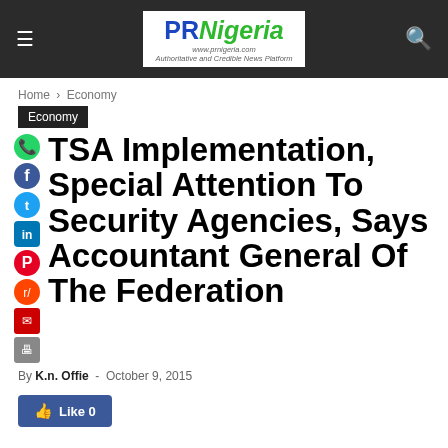PR Nigeria — Authoritative and Credible News Platform
Home › Economy
Economy
TSA Implementation, Special Attention To Security Agencies, Says Accountant General Of The Federation
By K.n. Offie - October 9, 2015